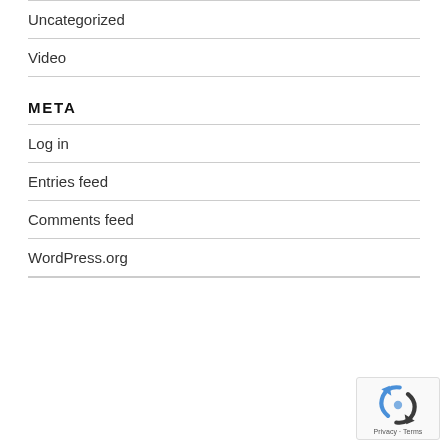Uncategorized
Video
META
Log in
Entries feed
Comments feed
WordPress.org
[Figure (other): reCAPTCHA widget with Privacy and Terms links]